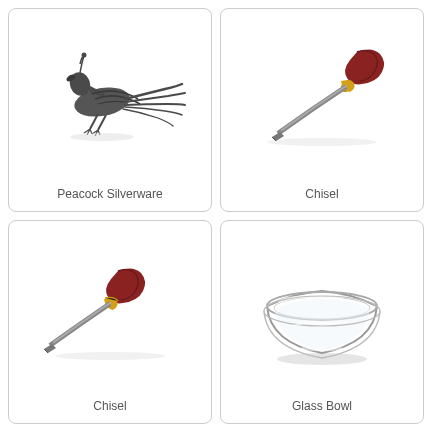[Figure (illustration): A dark metallic peacock-shaped silverware piece, viewed from the side, with long tail feathers extending to the right.]
Peacock Silverware
[Figure (illustration): A chisel with a dark red/brown wooden handle with a brass collar, and a long narrow steel blade, oriented diagonally.]
Chisel
[Figure (illustration): A chisel with a dark red/brown wooden handle with a brass collar, and a long narrow steel blade, oriented diagonally.]
Chisel
[Figure (illustration): A clear glass mixing bowl, slightly transparent, viewed from a slightly elevated angle showing the interior.]
Glass Bowl